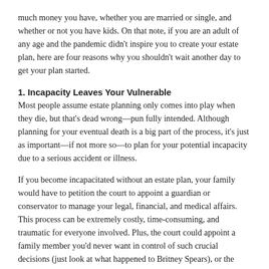much money you have, whether you are married or single, and whether or not you have kids. On that note, if you are an adult of any age and the pandemic didn't inspire you to create your estate plan, here are four reasons why you shouldn't wait another day to get your plan started.
1. Incapacity Leaves Your Vulnerable
Most people assume estate planning only comes into play when they die, but that's dead wrong—pun fully intended. Although planning for your eventual death is a big part of the process, it's just as important—if not more so—to plan for your potential incapacity due to a serious accident or illness.
If you become incapacitated without an estate plan, your family would have to petition the court to appoint a guardian or conservator to manage your legal, financial, and medical affairs. This process can be extremely costly, time-consuming, and traumatic for everyone involved. Plus, the court could appoint a family member you'd never want in control of such crucial decisions (just look at what happened to Britney Spears), or the court could appoint a professional guardian, which could be in